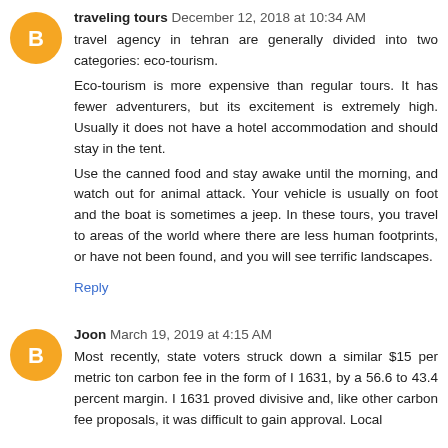[Figure (illustration): Orange circular blogger avatar icon with letter B for first comment]
traveling tours December 12, 2018 at 10:34 AM
travel agency in tehran are generally divided into two categories: eco-tourism.
Eco-tourism is more expensive than regular tours. It has fewer adventurers, but its excitement is extremely high. Usually it does not have a hotel accommodation and should stay in the tent.
Use the canned food and stay awake until the morning, and watch out for animal attack. Your vehicle is usually on foot and the boat is sometimes a jeep. In these tours, you travel to areas of the world where there are less human footprints, or have not been found, and you will see terrific landscapes.
Reply
[Figure (illustration): Orange circular blogger avatar icon with letter B for second comment]
Joon March 19, 2019 at 4:15 AM
Most recently, state voters struck down a similar $15 per metric ton carbon fee in the form of I 1631, by a 56.6 to 43.4 percent margin. I 1631 proved divisive and, like other carbon fee proposals, it was difficult to gain approval. Local